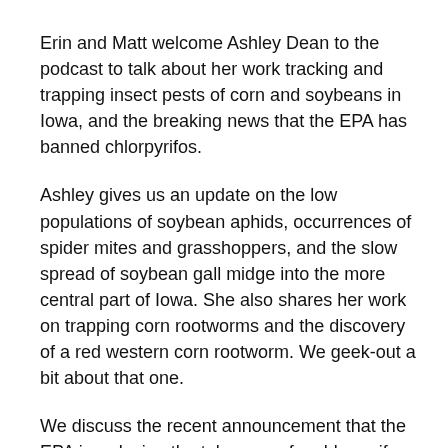Erin and Matt welcome Ashley Dean to the podcast to talk about her work tracking and trapping insect pests of corn and soybeans in Iowa, and the breaking news that the EPA has banned chlorpyrifos.
Ashley gives us an update on the low populations of soybean aphids, occurrences of spider mites and grasshoppers, and the slow spread of soybean gall midge into the more central part of Iowa.  She also shares her work on trapping corn rootworms and the discovery of a red western corn rootworm. We geek-out a bit about that one.
We discuss the recent announcement that the EPA is reducing the tolerances for chlorpyrifos to zero for all foods.  This is a bigger deal than the announcement just over a year ago that Corteva would stop producing